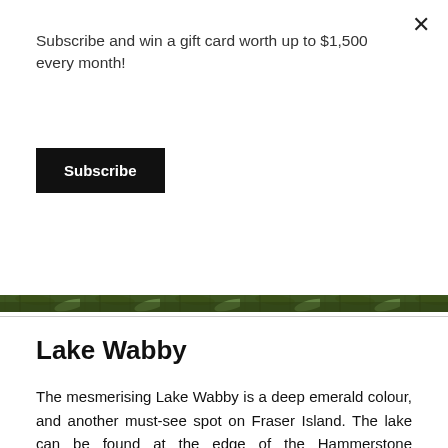Subscribe and win a gift card worth up to $1,500 every month!
Subscribe
[Figure (photo): Strip of tropical rainforest/palm foliage, green canopy viewed from below]
Lake Wabby
The mesmerising Lake Wabby is a deep emerald colour, and another must-see spot on Fraser Island. The lake can be found at the edge of the Hammerstone Sandblow, a mammoth sandy formation worth checking out in itself. Walk the sandy track to the lake and dive into the refreshing water; this is the deepest lake on Fraser Island. Children love to run down the steep sand dune and flop into the lake, scaring the little freshwater fish. Stretched out beside the lake is a